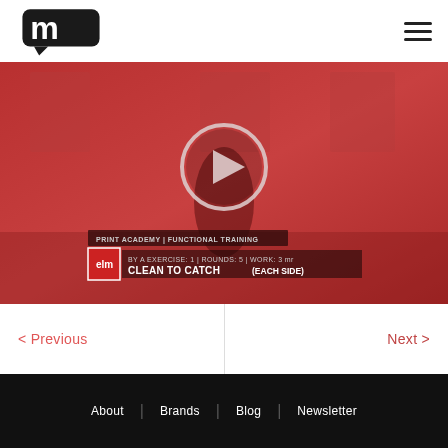[Figure (logo): Black stylized M letter with speech bubble chat icon, brand logo]
[Figure (screenshot): Red-tinted gym workout video thumbnail showing a person exercising with ring gymnastics equipment. A circular play button is centered on the image. At the bottom, a gym workout overlay shows: CLEAN TO CATCH (EACH SIDE) with ROUNDS: 5 | WORK: 3 min]
< Previous
Next >
About | Brands | Blog | Newsletter